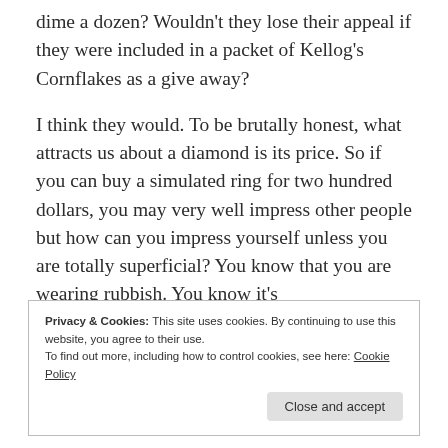dime a dozen? Wouldn't they lose their appeal if they were included in a packet of Kellog's Cornflakes as a give away?
I think they would. To be brutally honest, what attracts us about a diamond is its price. So if you can buy a simulated ring for two hundred dollars, you may very well impress other people but how can you impress yourself unless you are totally superficial? You know that you are wearing rubbish. You know it's
Privacy & Cookies: This site uses cookies. By continuing to use this website, you agree to their use.
To find out more, including how to control cookies, see here: Cookie Policy
Close and accept